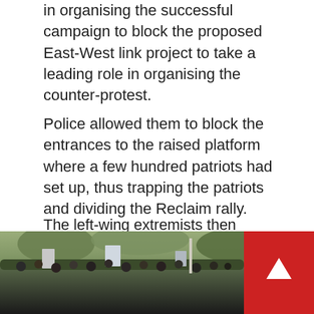in organising the successful campaign to block the proposed East-West link project to take a leading role in organising the counter-protest.
Police allowed them to block the entrances to the raised platform where a few hundred patriots had set up, thus trapping the patriots and dividing the Reclaim rally.
The left-wing extremists then attacked and physically blocked the rally attendees who were arriving in ones and twos, hurled manure from police horses at them, threw elderly attendees to the ground and stole Australian flags which they then burnt on video.
[Figure (photo): A large crowd of protesters gathered in an urban area with trees visible in the background. People are holding signs. A red scroll-to-top button is visible in the bottom right corner.]